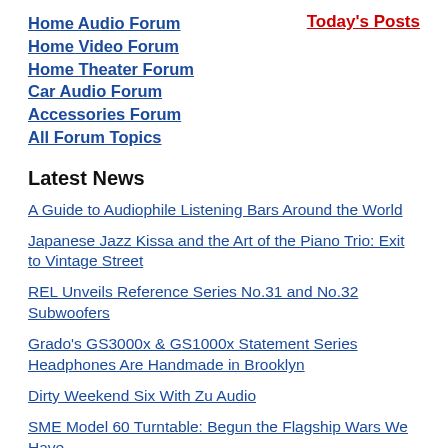Home Audio Forum
Home Video Forum
Home Theater Forum
Car Audio Forum
Accessories Forum
All Forum Topics
Today's Posts
Latest News
A Guide to Audiophile Listening Bars Around the World
Japanese Jazz Kissa and the Art of the Piano Trio: Exit to Vintage Street
REL Unveils Reference Series No.31 and No.32 Subwoofers
Grado's GS3000x & GS1000x Statement Series Headphones Are Handmade in Brooklyn
Dirty Weekend Six With Zu Audio
SME Model 60 Turntable: Begun the Flagship Wars We Have
Walmart Is Offering A Free Paramount+ Subscription